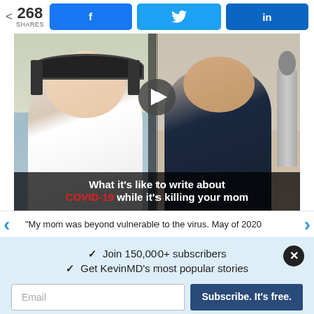268 SHARES
[Figure (screenshot): Video thumbnail showing two people in split screen: woman with headphones on left, man on right. Play button in center. Caption reads: What it's like to write about COVID-19 while it's killing your mom]
“My mom was beyond vulnerable to the virus. May of 2020
✓  Join 150,000+ subscribers
✓  Get KevinMD’s most popular stories
Email | Subscribe. It's free.